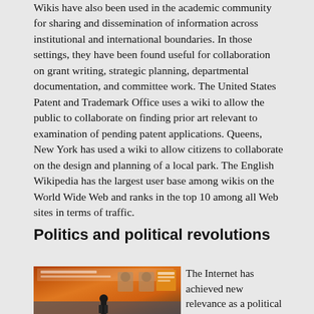Wikis have also been used in the academic community for sharing and dissemination of information across institutional and international boundaries. In those settings, they have been found useful for collaboration on grant writing, strategic planning, departmental documentation, and committee work. The United States Patent and Trademark Office uses a wiki to allow the public to collaborate on finding prior art relevant to examination of pending patent applications. Queens, New York has used a wiki to allow citizens to collaborate on the design and planning of a local park. The English Wikipedia has the largest user base among wikis on the World Wide Web and ranks in the top 10 among all Web sites in terms of traffic.
Politics and political revolutions
[Figure (photo): A photo showing a political banner or sign with Thai text and images, with a person standing in front of it.]
The Internet has achieved new relevance as a political tool. The presidential campaign of Howard Dean in 2004 in